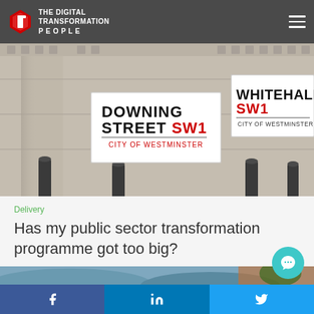THE DIGITAL TRANSFORMATION PEOPLE
[Figure (photo): Street signs on a stone building corner: Downing Street SW1 and Whitehall SW1, City of Westminster, London]
Delivery
Has my public sector transformation programme got too big?
[Figure (photo): Partial landscape/mountain photo strip at bottom of content area]
f  in  (Twitter bird icon) — Social share buttons